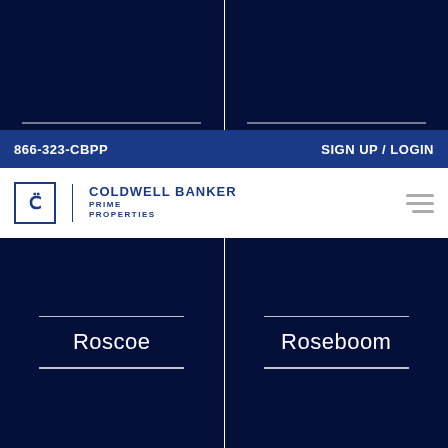[Figure (screenshot): Two dark navy image panels side by side with a white horizontal line near the bottom of each]
866-323-CBPP   SIGN UP / LOGIN
[Figure (logo): Coldwell Banker Prime Properties logo with hamburger menu icon]
[Figure (screenshot): Two dark navy location card panels: Roscoe and Roseboom, each with white horizontal lines above and below the text]
[Figure (screenshot): Two dark navy panels partially visible at bottom of page]